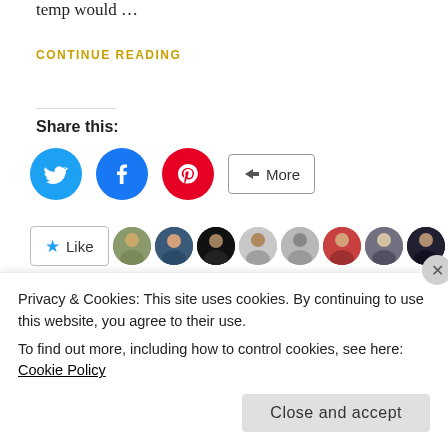temp would …
CONTINUE READING
Share this:
[Figure (other): Social share buttons: Twitter (blue circle), Facebook (blue circle), Pinterest (red circle), and a More button]
[Figure (other): Like button followed by a row of 11 avatar thumbnails of bloggers]
17 bloggers like this.
18/07/2015 | SELF-IMPROVEMENT
The First (and only) 'Best Planner Signa'
Privacy & Cookies: This site uses cookies. By continuing to use this website, you agree to their use.
To find out more, including how to control cookies, see here: Cookie Policy
Close and accept